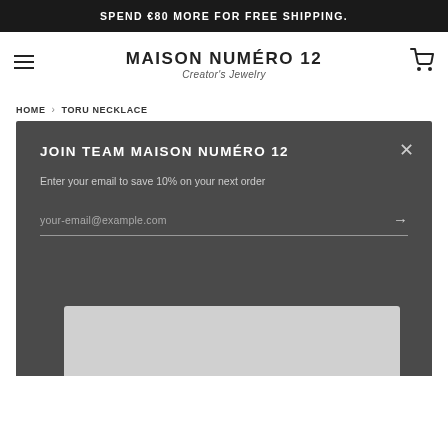SPEND €80 MORE FOR FREE SHIPPING.
MAISON NUMÉRO 12
Creator's Jewelry
HOME › TORU NECKLACE
JOIN TEAM MAISON NUMÉRO 12
Enter your email to save 10% on your next order
your-email@example.com
[Figure (photo): Product image placeholder, light grey background]